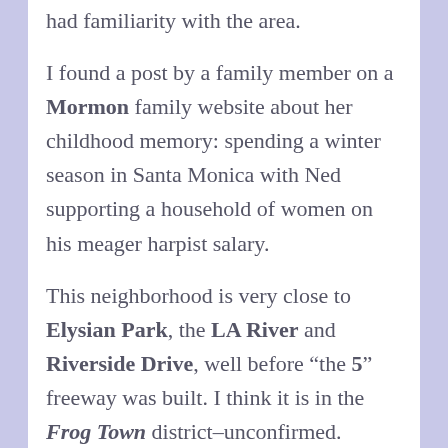had familiarity with the area.
I found a post by a family member on a Mormon family website about her childhood memory: spending a winter season in Santa Monica with Ned supporting a household of women on his meager harpist salary.
This neighborhood is very close to Elysian Park, the LA River and Riverside Drive, well before “the 5” freeway was built. I think it is in the Frog Town district–unconfirmed.